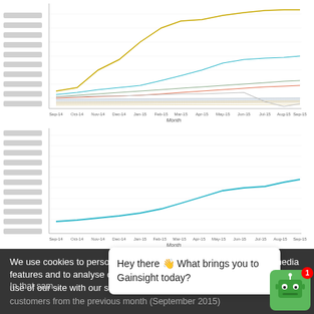[Figure (line-chart): Multi-line chart showing MRR trends across multiple customer cohorts from Sep-14 to Sep-15. Multiple overlapping lines mostly flat with some rising.]
[Figure (line-chart): Single line chart showing overall MRR growing steadily from Sep-14 to Sep-15.]
We use cookies to personalise content and ads, to provide social media features and to analyse our traffic. We also share information about your use of our site with our social media, advertising d...
In that sam...
customers from the previous month (September 2015)
Hey there 👋 What brings you to Gainsight today?